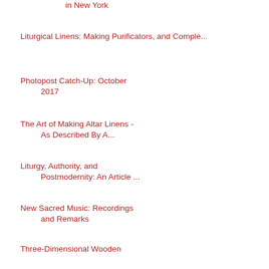in New York
Liturgical Linens: Making Purificators, and Comple...
Photopost Catch-Up: October 2017
The Art of Making Altar Linens - As Described By A...
Liturgy, Authority, and Postmodernity: An Article ...
New Sacred Music: Recordings and Remarks
Three-Dimensional Wooden Crucifix Icon by Francis ...
St. Thomas’ Earliest Treatment of the Sacraments N...
St Nicholas Upgraded in Italy
Santa Maria Antiqua in the Roman Forum